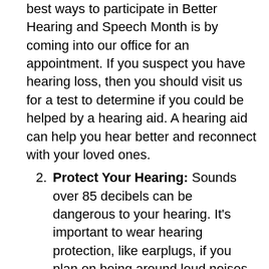best ways to participate in Better Hearing and Speech Month is by coming into our office for an appointment. If you suspect you have hearing loss, then you should visit us for a test to determine if you could be helped by a hearing aid. A hearing aid can help you hear better and reconnect with your loved ones.
2. Protect Your Hearing: Sounds over 85 decibels can be dangerous to your hearing. It’s important to wear hearing protection, like earplugs, if you plan on being around loud noises. This includes live music, fireworks, power tools, and motorcycles. Protecting your ears from loud sounds is a great way to be proactive.
3. Educate Yourself and Spread Awareness: Hearing loss can seem complex and even confusing. In order to normalize